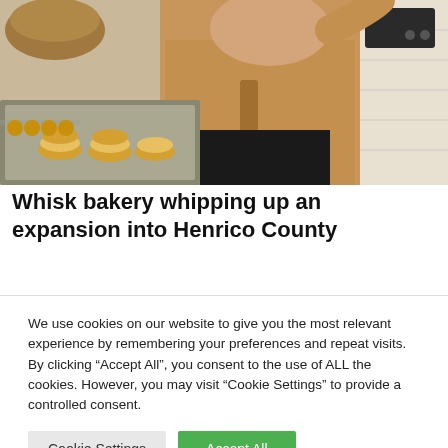[Figure (photo): A man in a tan/beige zip-up sweater leaning on a bakery display case filled with cookies and pastries, in a bakery setting with a white brick wall in the background.]
Whisk bakery whipping up an expansion into Henrico County
We use cookies on our website to give you the most relevant experience by remembering your preferences and repeat visits. By clicking “Accept All”, you consent to the use of ALL the cookies. However, you may visit “Cookie Settings” to provide a controlled consent.